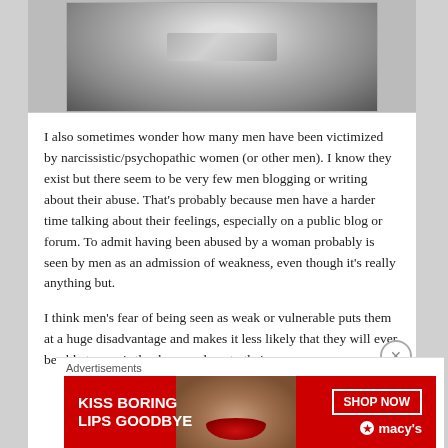[Figure (photo): Black and white close-up photo of a person's lower face with tape/duct tape over the mouth, cropped to show chin and lips area]
I also sometimes wonder how many men have been victimized by narcissistic/psychopathic women (or other men). I know they exist but there seem to be very few men blogging or writing about their abuse. That's probably because men have a harder time talking about their feelings, especially on a public blog or forum. To admit having been abused by a woman probably is seen by men as an admission of weakness, even though it's really anything but.
I think men's fear of being seen as weak or vulnerable puts them at a huge disadvantage and makes it less likely that they will ever be able to repair the damage done to their
Advertisements
[Figure (photo): Macy's advertisement banner with red background, showing a woman's face with red lipstick. Text reads 'KISS BORING LIPS GOODBYE' on the left, 'SHOP NOW' button and 'macys' logo with star on the right.]